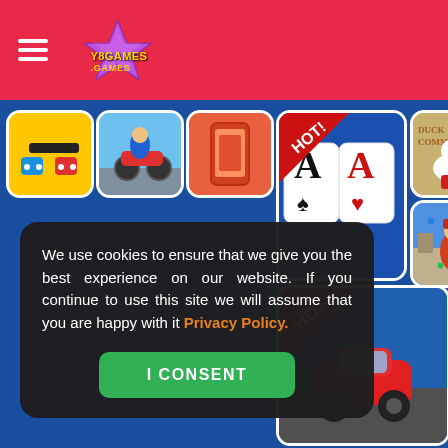Y8GAMES.GAMES
[Figure (screenshot): Game thumbnails grid showing various mobile/web games including drawing game, moto game, mobile game, solitaire (HOT!), duck game, shooter game, car game (HOT!) and character thumbnails on a blue background]
We use cookies to ensure that we give you the best experience on our website. If you continue to use this site we will assume that you are happy with it Privacy Policy.
I CONSENT